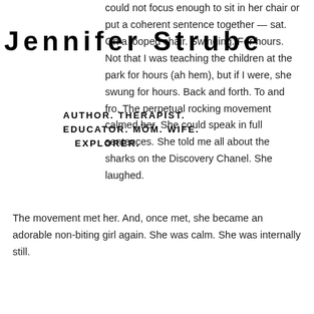Jennifer Strube
AUTHOR. THERAPIST. EDUCATOR. MOM. WIFE. EXPLORER.
could not focus enough to sit in her chair or put a coherent sentence together — sat. On a looped chair. Swinging. For hours. Not that I was teaching the children at the park for hours (ah hem), but if I were, she swung for hours. Back and forth. To and fro. The perpetual rocking movement calmed her. She could speak in full sentences. She told me all about the sharks on the Discovery Chanel. She laughed.
The movement met her. And, once met, she became an adorable non-biting girl again. She was calm. She was internally still.